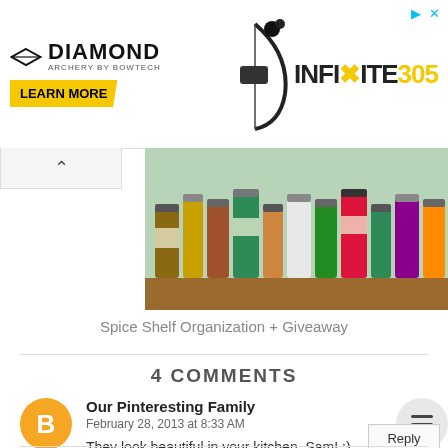[Figure (photo): Diamond Archery advertisement banner featuring bow image and 'INFINITE 305' text with 'LEARN MORE' yellow button]
[Figure (photo): Photo of spice jars arranged on a wooden shelf]
Spice Shelf Organization + Giveaway
4 COMMENTS
Our Pinteresting Family
February 28, 2013 at 8:33 AM
They look beautiful in your kitchen, Sam! :)